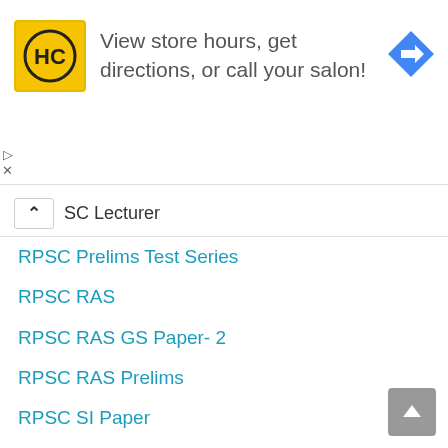[Figure (screenshot): Advertisement banner for a hair salon (HC logo) with text 'View store hours, get directions, or call your salon!' and a blue navigation arrow icon on the right]
SC Lecturer
RPSC Prelims Test Series
RPSC RAS
RPSC RAS GS Paper- 2
RPSC RAS Prelims
RPSC SI Paper
RPSC Vacancy
RRB NTPC
RSMSSB
Science and Technology
Security Issues
SET Exam